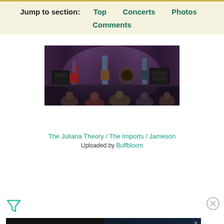Jump to section: Top  Concerts  Photos  Comments
[Figure (photo): Concert photo showing a band performing on stage with musicians playing guitar, drums, and bass, with audience members visible in the foreground. Dark stage lighting with curtains in background.]
The Juliana Theory / The Imports / Jameson
Uploaded by Buffbloom
[Figure (infographic): Advertisement banner reading 'Tailored ad management solutions for every publisher' with Freesta logo and 'Learn More' button on dark background with illustrated graphic elements.]